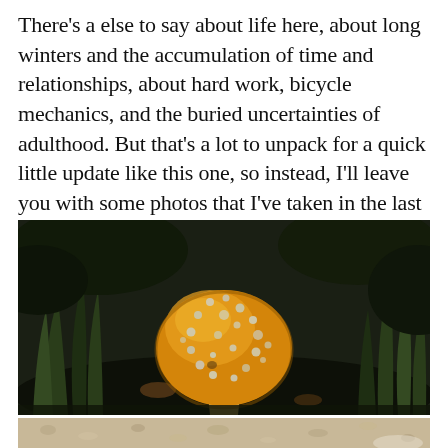There's a else to say about life here, about long winters and the accumulation of time and relationships, about hard work, bicycle mechanics, and the buried uncertainties of adulthood. But that's a lot to unpack for a quick little update like this one, so instead, I'll leave you with some photos that I've taken in the last year.
[Figure (photo): Close-up photograph of a small orange/yellow mushroom with white warty spots on its cap, growing among dark green grass and forest debris on a dark background.]
[Figure (photo): Partial view of another photograph at the bottom of the page, showing a light-colored ground surface with some blurred elements.]